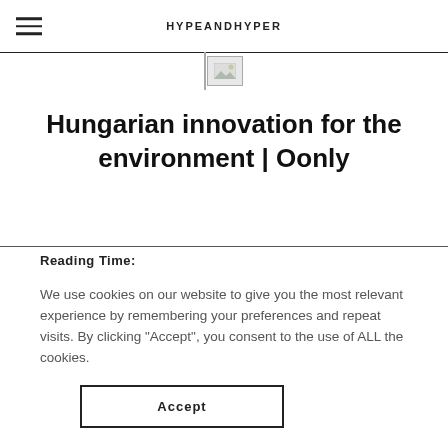HYPEANDHYPER
[Figure (photo): Small thumbnail image placeholder below header, with a left border line]
Hungarian innovation for the environment | Oonly
Reading Time:
We use cookies on our website to give you the most relevant experience by remembering your preferences and repeat visits. By clicking “Accept”, you consent to the use of ALL the cookies.
Accept